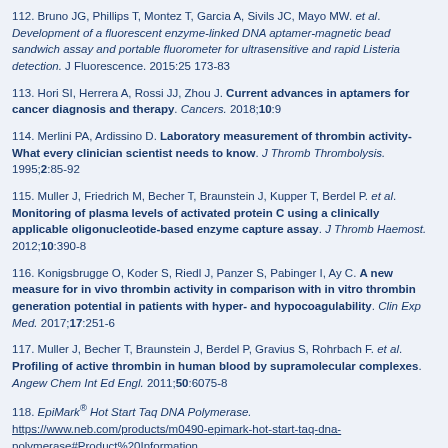112. Bruno JG, Phillips T, Montez T, Garcia A, Sivils JC, Mayo MW. et al. Development of a fluorescent enzyme-linked DNA aptamer-magnetic bead sandwich assay and portable fluorometer for ultrasensitive and rapid Listeria detection. J Fluorescence. 2015:25 173-83
113. Hori SI, Herrera A, Rossi JJ, Zhou J. Current advances in aptamers for cancer diagnosis and therapy. Cancers. 2018;10:9
114. Merlini PA, Ardissino D. Laboratory measurement of thrombin activity-What every clinician scientist needs to know. J Thromb Thrombolysis. 1995;2:85-92
115. Muller J, Friedrich M, Becher T, Braunstein J, Kupper T, Berdel P. et al. Monitoring of plasma levels of activated protein C using a clinically applicable oligonucleotide-based enzyme capture assay. J Thromb Haemost. 2012;10:390-8
116. Konigsbrugge O, Koder S, Riedl J, Panzer S, Pabinger I, Ay C. A new measure for in vivo thrombin activity in comparison with in vitro thrombin generation potential in patients with hyper- and hypocoagulability. Clin Exp Med. 2017;17:251-6
117. Muller J, Becher T, Braunstein J, Berdel P, Gravius S, Rohrbach F. et al. Profiling of active thrombin in human blood by supramolecular complexes. Angew Chem Int Ed Engl. 2011;50:6075-8
118. EpiMark® Hot Start Taq DNA Polymerase. https://www.neb.com/products/m0490-epimark-hot-start-taq-dna-polymerase#Product%20Information
119. Tsai SC, Hung LY, Lee GB. An integrated microfluidic system for